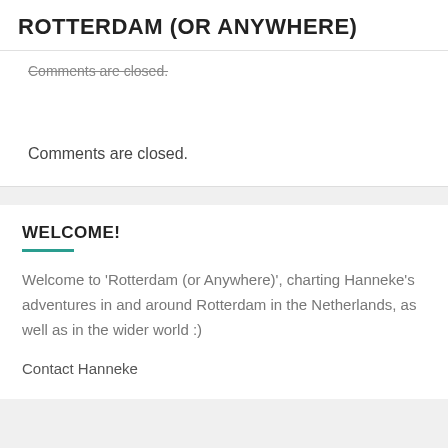ROTTERDAM (OR ANYWHERE)
Comments are closed.
Comments are closed.
WELCOME!
Welcome to 'Rotterdam (or Anywhere)', charting Hanneke's adventures in and around Rotterdam in the Netherlands, as well as in the wider world :)
Contact Hanneke